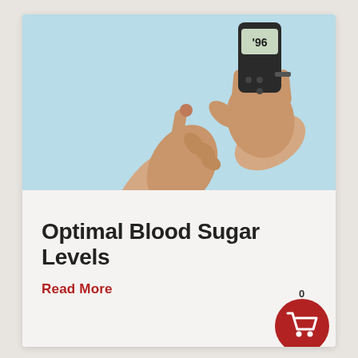[Figure (photo): Two hands against a light blue background: one hand holds a digital glucometer displaying '96' and the other hand is positioned with a fingertip touching the test strip of the glucometer.]
Optimal Blood Sugar Levels
Read More